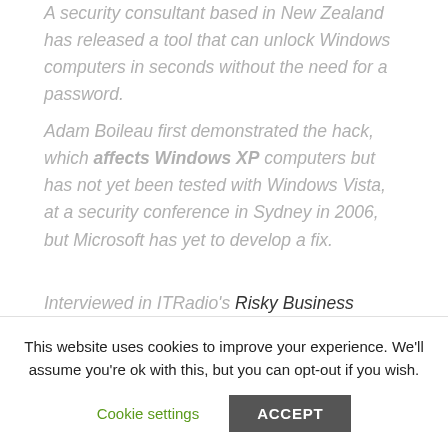A security consultant based in New Zealand has released a tool that can unlock Windows computers in seconds without the need for a password.
Adam Boileau first demonstrated the hack, which affects Windows XP computers but has not yet been tested with Windows Vista, at a security conference in Sydney in 2006, but Microsoft has yet to develop a fix.
Interviewed in ITRadio's Risky Business podcast, Boileau said the tool, released to the public today,
This website uses cookies to improve your experience. We'll assume you're ok with this, but you can opt-out if you wish.
Cookie settings
ACCEPT